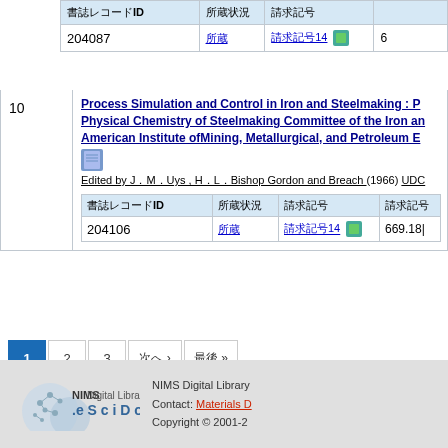| 書誌レコードID | 所蔵状況 | 請求記号 |  |
| --- | --- | --- | --- |
| 204087 | 所蔵 | 請求記号14 [icon] | 6 |
10
Process Simulation and Control in Iron and Steelmaking : Pr... Physical Chemistry of Steelmaking Committee of the Iron an... American Institute ofMining, Metallurgical, and Petroleum En...
Edited by J．M．Uys , H．L．Bishop Gordon and Breach (1966) UDC
| 書誌レコードID | 所蔵状況 | 請求記号 | 請求記号 |
| --- | --- | --- | --- |
| 204106 | 所蔵 | 請求記号14 [icon] | 669.18| |
1 2 3 次へ › 最後 »
検索式: classification_sm:udc_669
詳細検索
NIMS Digital Library Contact: Materials D... Copyright © 2001-2...